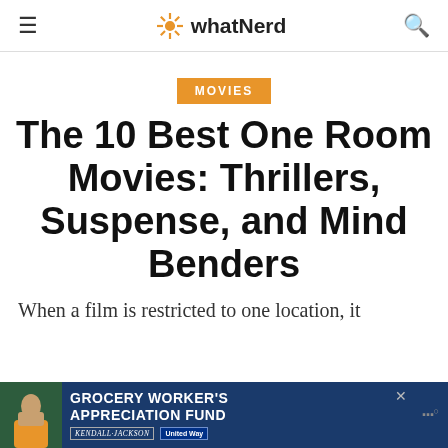whatNerd
MOVIES
The 10 Best One Room Movies: Thrillers, Suspense, and Mind Benders
When a film is restricted to one location, it
[Figure (other): Advertisement banner for Grocery Worker's Appreciation Fund featuring Kendall Jackson and United Way logos]